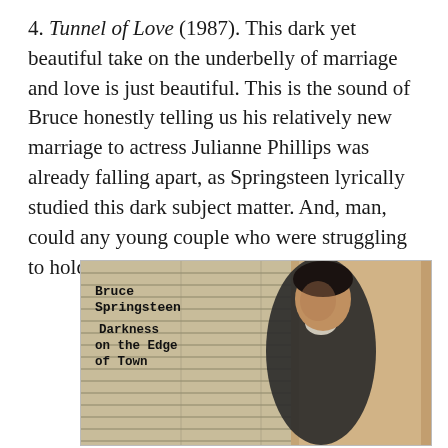4. Tunnel of Love (1987). This dark yet beautiful take on the underbelly of marriage and love is just beautiful. This is the sound of Bruce honestly telling us his relatively new marriage to actress Julianne Phillips was already falling apart, as Springsteen lyrically studied this dark subject matter. And, man, could any young couple who were struggling to hold their marriage relate to this album.
[Figure (photo): Album cover for Bruce Springsteen 'Darkness on the Edge of Town' showing a young Bruce Springsteen standing in front of window blinds, wearing a dark jacket with white shirt, with typewriter-style text on the left side reading 'Bruce Springsteen Darkness on the Edge of Town']